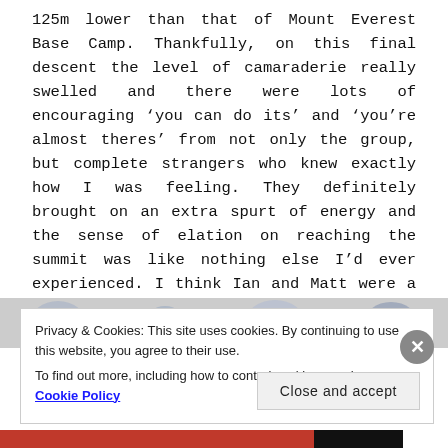125m lower than that of Mount Everest Base Camp. Thankfully, on this final descent the level of camaraderie really swelled and there were lots of encouraging ‘you can do its’ and ‘you’re almost theres’ from not only the group, but complete strangers who knew exactly how I was feeling. They definitely brought on an extra spurt of energy and the sense of elation on reaching the summit was like nothing else I’d ever experienced. I think Ian and Matt were a little taken aback by the bearhugs they were subsequently treated to.
[Figure (photo): Partial image strip showing blurred photos of people, partially obscured by the cookie consent overlay.]
Privacy & Cookies: This site uses cookies. By continuing to use this website, you agree to their use.
To find out more, including how to control cookies, see here: Cookie Policy
Close and accept